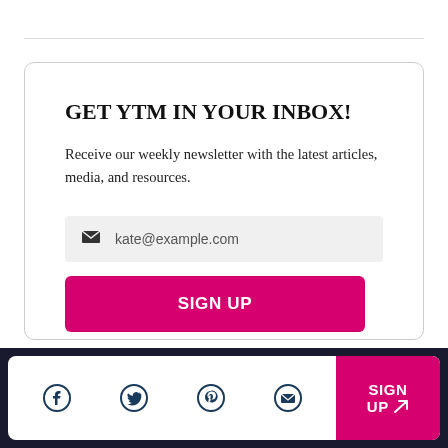GET YTM IN YOUR INBOX!
Receive our weekly newsletter with the latest articles, media, and resources.
kate@example.com
SIGN UP
[Figure (other): Footer social bar with Facebook, Twitter, Pinterest, and email icons, plus a pink SIGN UP button with paper-plane icon]